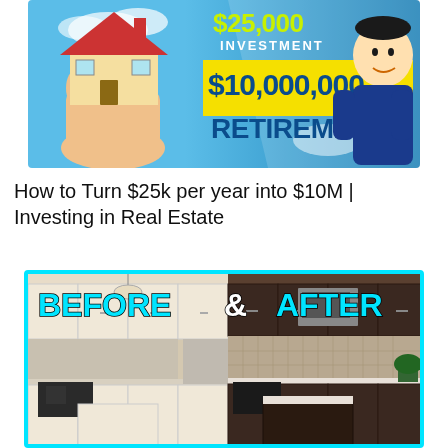[Figure (photo): Thumbnail image showing a hand holding a miniature house on the left with blue sky background, and text on the right reading '$25,000 INVESTMENT' in yellow-green, '$10,000,000' in a yellow banner, 'RETIREMENT' in dark blue. A cartoon-styled man in a blue shirt is on the right side.]
How to Turn $25k per year into $10M | Investing in Real Estate
[Figure (photo): Thumbnail image with cyan border showing a kitchen before and after renovation. Left side shows a kitchen with white cabinets (BEFORE), right side shows dark wood cabinets with modern appliances (AFTER). Text at top reads 'BEFORE & AFTER' in cyan bold letters.]